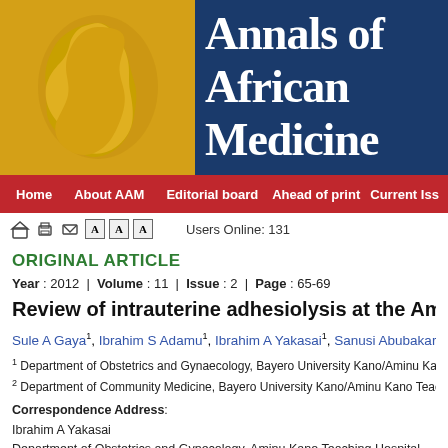[Figure (logo): Annals of African Medicine journal header with Africa map logo in yellow/gold box and journal title in dark blue background]
Home   About AAM   Editorial board   Ahead of print   Current Iss
Users Online: 131
ORIGINAL ARTICLE
Year : 2012  |  Volume : 11  |  Issue : 2  |  Page : 65-69
Review of intrauterine adhesiolysis at the Aminu Ka
Sule A Gaya1, Ibrahim S Adamu1, Ibrahim A Yakasai1, Sanusi Abubakar2
1 Department of Obstetrics and Gynaecology, Bayero University Kano/Aminu Kano Teachin
2 Department of Community Medicine, Bayero University Kano/Aminu Kano Teaching Hos
Correspondence Address:
Ibrahim A Yakasai
Department of Obstetrics and Gynecology, Aminu Kano Teaching Hospital, Kano
Nigeria